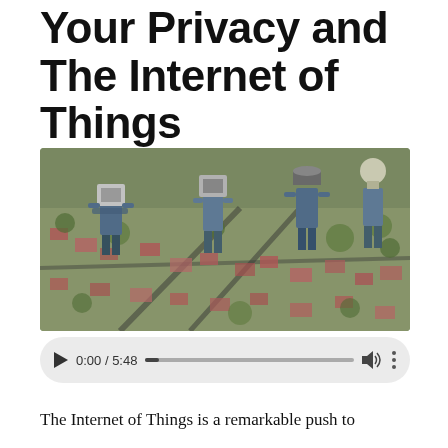Your Privacy and The Internet of Things
[Figure (screenshot): Video thumbnail showing illustrated figures with device heads (camera, lightbulb, speaker) standing over an aerial view of a suburban neighborhood. Below the thumbnail is a video player control bar showing 0:00 / 5:48 with a play button, progress bar, volume icon, and more options icon.]
The Internet of Things is a remarkable push to